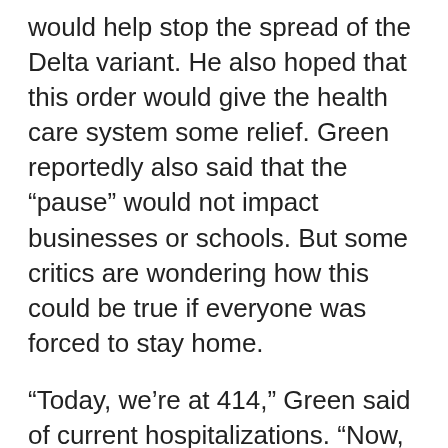would help stop the spread of the Delta variant. He also hoped that this order would give the health care system some relief. Green reportedly also said that the “pause” would not impact businesses or schools. But some critics are wondering how this could be true if everyone was forced to stay home.
“Today, we’re at 414,” Green said of current hospitalizations. “Now, tragically, some of the counts have been lowered because there have been some fatalities in the last few days.”
Generated by Feedzy
The Democratic governor of the Aloh